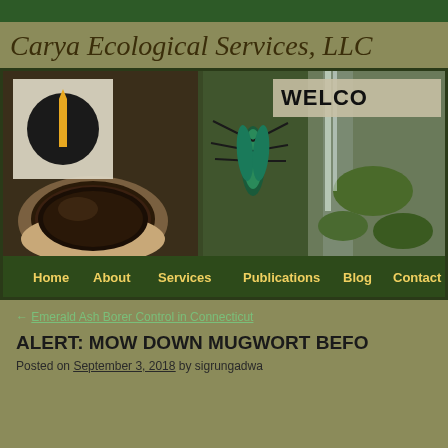Carya Ecological Services, LLC
[Figure (photo): Website banner showing a hand holding a dark mussel shell, a metallic green insect (emerald ash borer), and a rocky waterfall with moss. Includes company logo (black circle with yellow fork icon) and WELCOME text overlay. Navigation bar below with links: Home, About, Services, Publications, Blog, Contact.]
← Emerald Ash Borer Control in Connecticut
ALERT: MOW DOWN MUGWORT BEFO…
Posted on September 3, 2018 by sigrungadwa